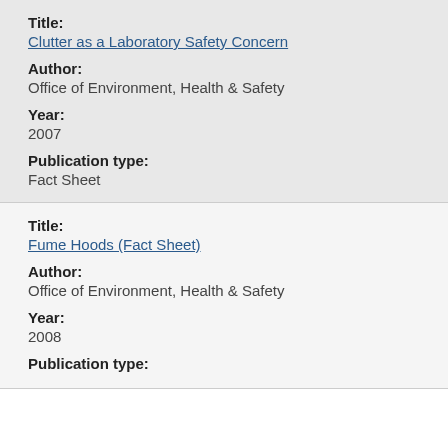Title:
Clutter as a Laboratory Safety Concern
Author:
Office of Environment, Health & Safety
Year:
2007
Publication type:
Fact Sheet
Title:
Fume Hoods (Fact Sheet)
Author:
Office of Environment, Health & Safety
Year:
2008
Publication type: